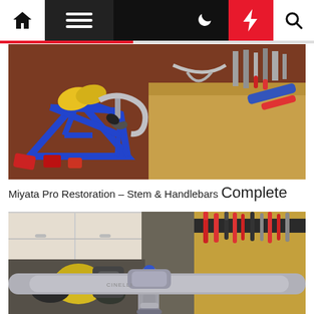Navigation bar with home, menu, moon, lightning, search icons
[Figure (photo): Blue Miyata Pro bicycle frame with drop handlebars and stem in a workshop. Yellow gloves on the frame, workbench with tools in background.]
Miyata Pro Restoration – Stem & Handlebars Complete
[Figure (photo): Close-up of silver aluminum drop handlebars and stem on a Miyata Pro bicycle, with workshop background showing cabinets and tool organizer.]